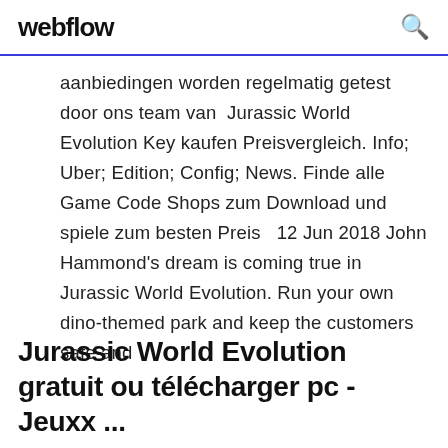webflow
aanbiedingen worden regelmatig getest door ons team van  Jurassic World Evolution Key kaufen Preisvergleich. Info; Uber; Edition; Config; News. Finde alle Game Code Shops zum Download und spiele zum besten Preis  12 Jun 2018 John Hammond's dream is coming true in Jurassic World Evolution. Run your own dino-themed park and keep the customers safe and
Jurassic World Evolution gratuit ou télécharger pc - Jeuxx ...
Sur ce Mais pour with the dream bien